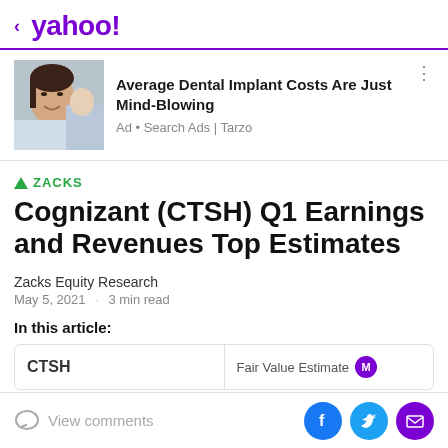< yahoo!
[Figure (photo): Woman at dental office smiling, dental implant advertisement photo]
Average Dental Implant Costs Are Just Mind-Blowing
Ad • Search Ads | Tarzo
▲ ZACKS
Cognizant (CTSH) Q1 Earnings and Revenues Top Estimates
Zacks Equity Research
May 5, 2021  ·  3 min read
In this article:
CTSH  |  Fair Value Estimate
View comments